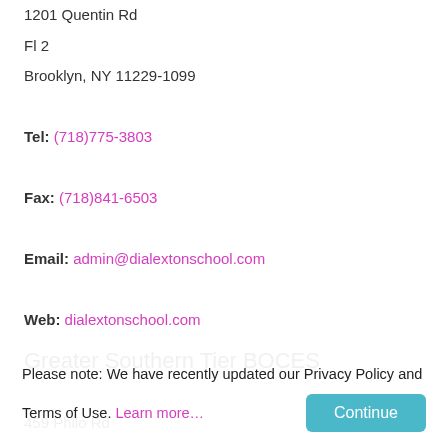1201 Quentin Rd
Fl 2
Brooklyn, NY 11229-1099
Tel: (718)775-3803
Fax: (718)841-6503
Email: admin@dialextonschool.com
Web: dialextonschool.com
Greater Southern Tier BOCES
459 Philo Rd
Elmira, NY 14903-1089
Tel: (607)739-3581
Web: gstboces.org
John Paolo's Xtreme Beauty Institute-Ballston
2144 Saratoga Ave
Ballston Spa, NY 12020
Please note: We have recently updated our Privacy Policy and Terms of Use. Learn more…  Continue